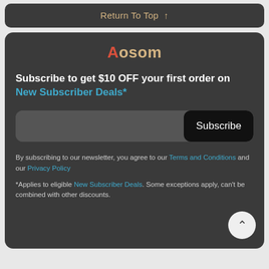Return To Top ↑
[Figure (screenshot): Aosom website newsletter subscription section with logo, headline, email input, subscribe button, and legal text]
Aosom
Subscribe to get $10 OFF your first order on New Subscriber Deals*
Subscribe
By subscribing to our newsletter, you agree to our Terms and Conditions and our Privacy Policy
*Applies to eligible New Subscriber Deals. Some exceptions apply, can't be combined with other discounts.